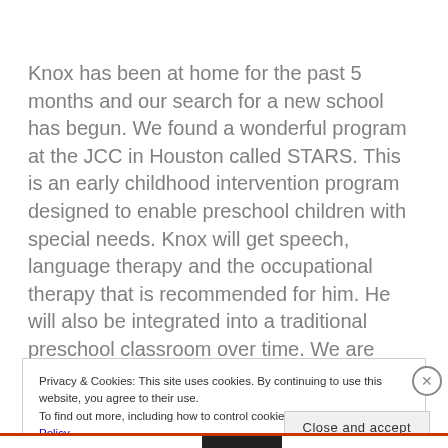Knox has been at home for the past 5 months and our search for a new school has begun. We found a wonderful program at the JCC in Houston called STARS. This is an early childhood intervention program designed to enable preschool children with special needs. Knox will get speech, language therapy and the occupational therapy that is recommended for him. He will also be integrated into a traditional preschool classroom over time. We are thrilled! Although financial aid has been made available to
Privacy & Cookies: This site uses cookies. By continuing to use this website, you agree to their use.
To find out more, including how to control cookies, see here: Cookie Policy
Close and accept